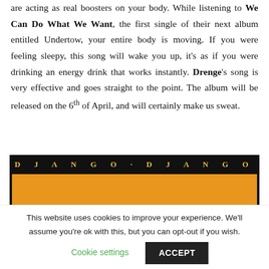are acting as real boosters on your body. While listening to We Can Do What We Want, the first single of their next album entitled Undertow, your entire body is moving. If you were feeling sleepy, this song will wake you up, it's as if you were drinking an energy drink that works instantly. Drenge's song is very effective and goes straight to the point. The album will be released on the 6th of April, and will certainly make us sweat.
[Figure (other): Django Django album cover banner — black background with 'DJANGO · DJANGO' text in spaced serif caps at top, large orange/amber rectangle filling most of the image below]
This website uses cookies to improve your experience. We'll assume you're ok with this, but you can opt-out if you wish.